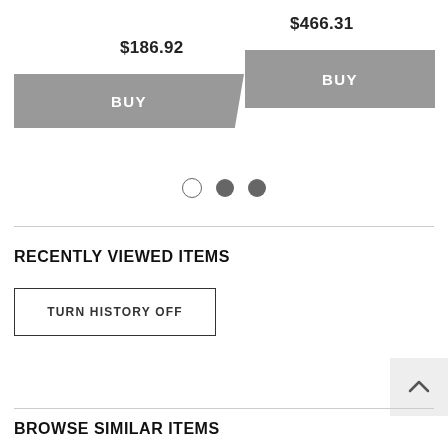$186.92
$466.31
BUY
BUY
[Figure (other): Pagination dots: one open circle and two filled circles]
RECENTLY VIEWED ITEMS
TURN HISTORY OFF
BROWSE SIMILAR ITEMS